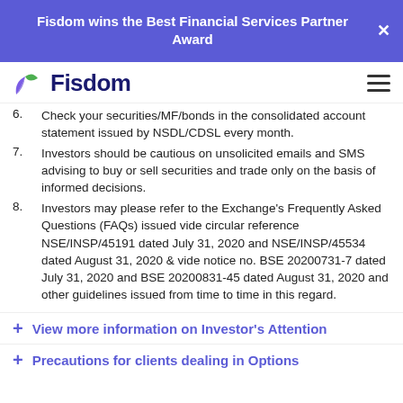Fisdom wins the Best Financial Services Partner Award
[Figure (logo): Fisdom logo with purple/green leaf icon and dark blue bold text 'Fisdom']
6. Check your securities/MF/bonds in the consolidated account statement issued by NSDL/CDSL every month.
7. Investors should be cautious on unsolicited emails and SMS advising to buy or sell securities and trade only on the basis of informed decisions.
8. Investors may please refer to the Exchange's Frequently Asked Questions (FAQs) issued vide circular reference NSE/INSP/45191 dated July 31, 2020 and NSE/INSP/45534 dated August 31, 2020 & vide notice no. BSE 20200731-7 dated July 31, 2020 and BSE 20200831-45 dated August 31, 2020 and other guidelines issued from time to time in this regard.
+ View more information on Investor's Attention
+ Precautions for clients dealing in Options